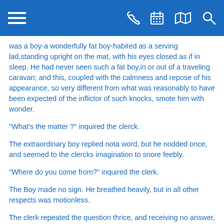Navigation header bar with menu, phone, calendar, map, and search icons
was a boy-a wonderfully fat boy-habited as a serving lad,standing upright on the mat, with his eyes closed as if in sleep. He had never seen such a fat boy,in or out of a traveling caravan; and this, coupled with the calmness and repose of his appearance, so very different from what was reasonably to have been expected of the inflictor of such knocks, smote him with wonder.
"What's the matter ?" inquired the clerck.
The extraordinary boy replied nota word, but he nodded once, and seemed to the clercks imagination to snore feebly.
"Where do you come from?" inquired the clerk.
The Boy made no sign. He breathed heavily, but in all other respects was motionless.
The clerk repeated the question thrice, and receiving no answer, prepared to shut the door, when the boy suddently opened his eyes, winked several times, sneezed once, and raised his hand as if to repeat the knocking. Finding the door open, he stared about with a staid countenance, but with the fixedness of expression that argumented a mental occupation of some kind or other...